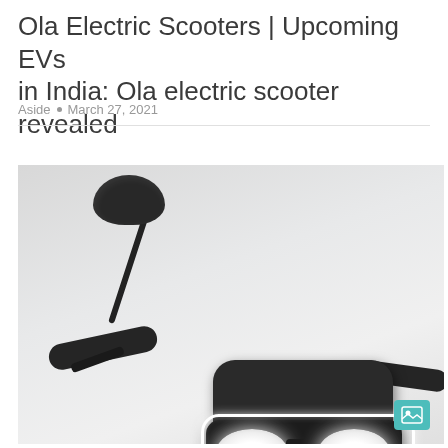Ola Electric Scooters | Upcoming EVs in India: Ola electric scooter revealed
Aside • March 27, 2021
[Figure (photo): Close-up photo of an Ola electric scooter showing the handlebar, rearview mirror, dashboard and distinctive dual headlights with LED DRL ring, against a light grey background.]